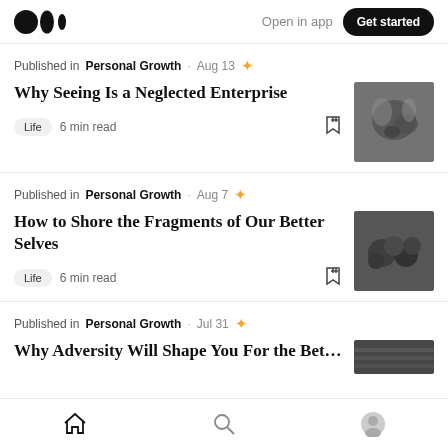Medium logo | Open in app | Get started
Published in Personal Growth · Aug 13 ★
Why Seeing Is a Neglected Enterprise
Life · 6 min read
Published in Personal Growth · Aug 7 ★
How to Shore the Fragments of Our Better Selves
Life · 6 min read
Published in Personal Growth · Jul 31 ★
Why Adversity Will Shape You For the Better
Home | Search | Profile